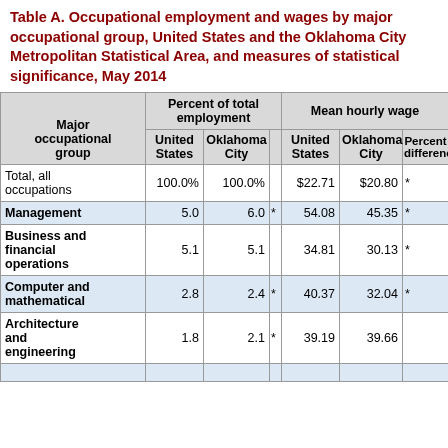Table A. Occupational employment and wages by major occupational group, United States and the Oklahoma City Metropolitan Statistical Area, and measures of statistical significance, May 2014
| Major occupational group | Percent of total employment - United States | Percent of total employment - Oklahoma City |  | Mean hourly wage - United States | Mean hourly wage - Oklahoma City | Percent difference |
| --- | --- | --- | --- | --- | --- | --- |
| Total, all occupations | 100.0% | 100.0% |  | $22.71 | $20.80 | * |
| Management | 5.0 | 6.0 | * | 54.08 | 45.35 | * |
| Business and financial operations | 5.1 | 5.1 |  | 34.81 | 30.13 | * |
| Computer and mathematical | 2.8 | 2.4 | * | 40.37 | 32.04 | * |
| Architecture and engineering | 1.8 | 2.1 | * | 39.19 | 39.66 |  |